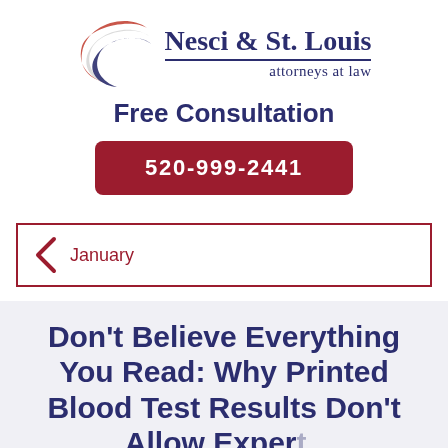[Figure (logo): Nesci & St. Louis attorneys at law logo with swoosh graphic in red, white, and dark blue]
Free Consultation
520-999-2441
January
Don't Believe Everything You Read: Why Printed Blood Test Results Don't Allow Experts to Determine a Person's